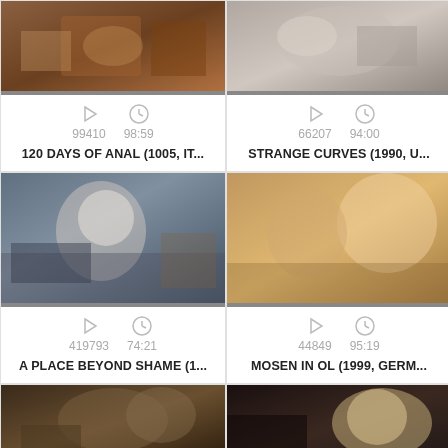[Figure (photo): Video thumbnail - intimate scene, warm tones]
99410   98:59
120 DAYS OF ANAL (1005, IT...
[Figure (photo): Video thumbnail - close up, muted tones]
66207   94:00
STRANGE CURVES (1990, U...
[Figure (photo): Video thumbnail - blonde woman in blue jacket]
419793   74:21
A PLACE BEYOND SHAME (1...
[Figure (photo): Video thumbnail - couple embracing]
44849   95:19
MOSEN IN OL (1999, GERM...
[Figure (photo): Video thumbnail - dark toned outdoor scene]
[Figure (photo): Video thumbnail - blonde woman, dark background]